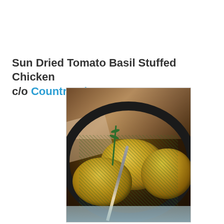Sun Dried Tomato Basil Stuffed Chicken c/o Country Cleaver
[Figure (photo): A cast iron skillet containing three stuffed chicken thighs with herb garnish (rosemary), seen from above. Wooden spoons are visible in the background, along with a knife/spatula. The skillet sits on a floral-patterned tablecloth.]